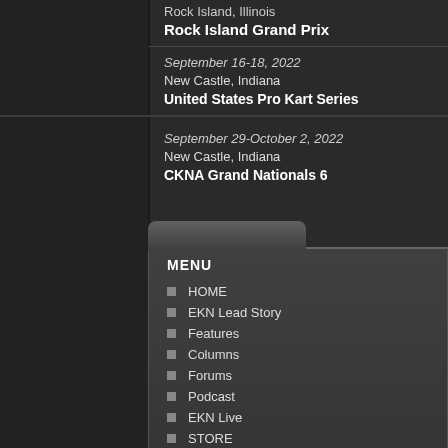Rock Island, Illinois
Rock Island Grand Prix
September 16-18, 2022
New Castle, Indiana
United States Pro Kart Series
September 29-October 2, 2022
New Castle, Indiana
CKNA Grand Nationals 6
MENU
HOME
EKN Lead Story
Features
Columns
Forums
Podcast
EKN Live
STORE